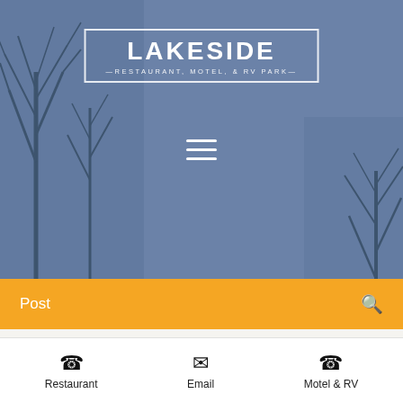[Figure (screenshot): Website screenshot of Lakeside Restaurant, Motel, & RV Park blog page showing header with logo on blue-grey winter background, orange navigation bar with Post label and search icon, All Posts dropdown, and article listing for 'The Travelers Ultimate Guide to Christmas Valley, OR' dated Dec 7, 2020, 9 min read, with bottom contact bar for Restaurant, Email, and Motel & RV.]
LAKESIDE
RESTAURANT, MOTEL, & RV PARK
Post
All Posts
Dec 7, 2020  •  9 min
The Travelers Ultimate Guide to Christmas Valley, OR
Restaurant   Email   Motel & RV